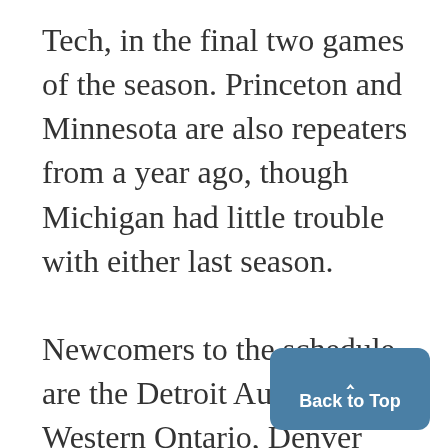Tech, in the final two games of the season. Princeton and Minnesota are also repeaters from a year ago, though Michigan had little trouble with either last season. Newcomers to the schedule are the Detroit Auto Club, Western Ontario, Denver University, and North Dakota. One of the brightest features of this year's schedule is that all o the home games will be played